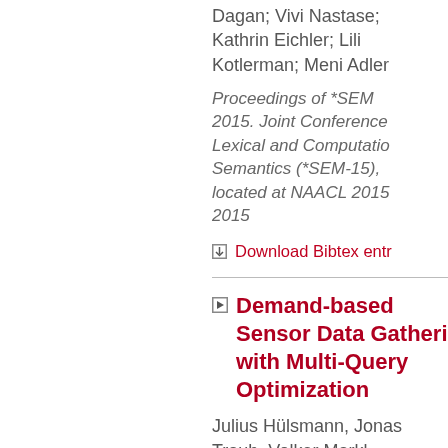Dagan; Vivi Nastase; Kathrin Eichler; Lili Kotlerman; Meni Adler
Proceedings of *SEM 2015. Joint Conference Lexical and Computational Semantics (*SEM-15), located at NAACL 2015 2015
Download Bibtex entr
Demand-based Sensor Data Gatheri with Multi-Query Optimization
Julius Hülsmann, Jonas Traub, Volker Markl